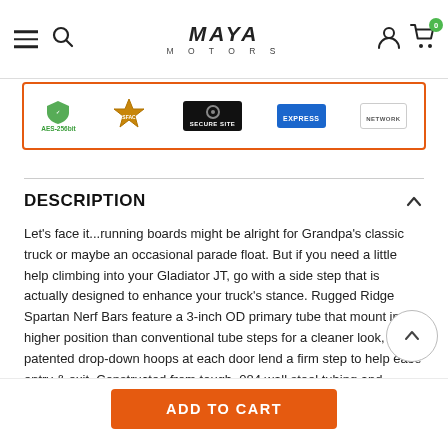Maya Motors navigation header with hamburger menu, search icon, logo, user icon, and cart icon
[Figure (other): Trust badges strip with AES-256bit security badge, manufacturer badge, Secure Site badge, American Express badge, and network badge, inside an orange border]
DESCRIPTION
Let's face it...running boards might be alright for Grandpa's classic truck or maybe an occasional parade float. But if you need a little help climbing into your Gladiator JT, go with a side step that is actually designed to enhance your truck's stance. Rugged Ridge Spartan Nerf Bars feature a 3-inch OD primary tube that mount in a higher position than conventional tube steps for a cleaner look, while patented drop-down hoops at each door lend a firm step to help ease entry & exit. Constructed from tough .084 wall steel tubing and finished with a durable 3-stage textured powder coat, Spartan Nerf Bars are designed with the strength and enduring good looks that your Jeep JT
ADD TO CART